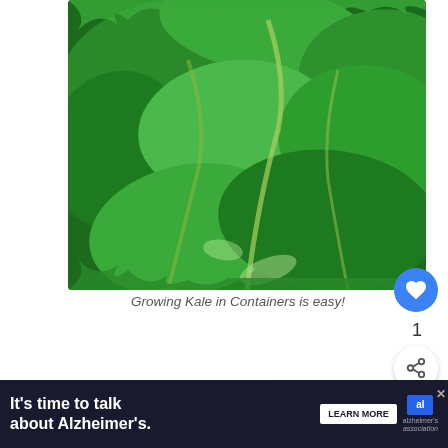[Figure (photo): Close-up photograph of green curly kale leaves filling the frame, showing dark and bright green tones with ruffled leaf edges and prominent stems.]
Growing Kale in Containers is easy!
Can you grow kale in a pot?
[Figure (infographic): WHAT'S NEXT panel with circular thumbnail image and text 'How to' partially visible]
[Figure (infographic): Advertisement banner: It's time to talk about Alzheimer's. LEARN MORE button. Alzheimer's association logo with close button.]